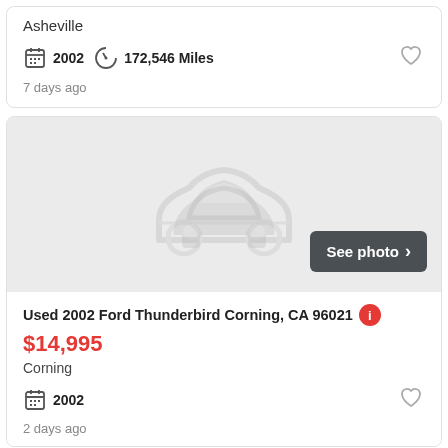Asheville
2002   172,546 Miles
7 days ago
[Figure (illustration): Car placeholder image with See photo button]
Used 2002 Ford Thunderbird Corning, CA 96021
$14,995
Corning
2002
2 days ago